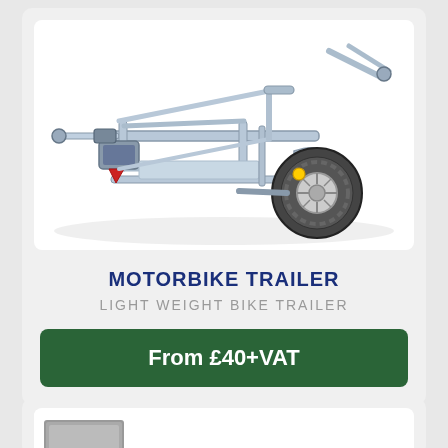[Figure (photo): A motorbike/motorcycle trailer with galvanised steel frame, wheel straps, red reflectors, and a large pneumatic tire on the right side, photographed against a white background.]
MOTORBIKE TRAILER
LIGHT WEIGHT BIKE TRAILER
From £40+VAT
[Figure (photo): Partial view of a second product card at the bottom of the page, showing the top portion of another trailer image.]